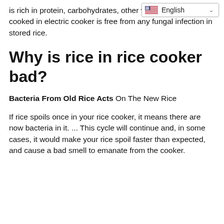is rich in protein, carbohydrates, other vitamins. ... The rice cooked in electric cooker is free from any fungal infection in stored rice.
Why is rice in rice cooker bad?
Bacteria From Old Rice Acts On The New Rice
If rice spoils once in your rice cooker, it means there are now bacteria in it. ... This cycle will continue and, in some cases, it would make your rice spoil faster than expected, and cause a bad smell to emanate from the cooker.